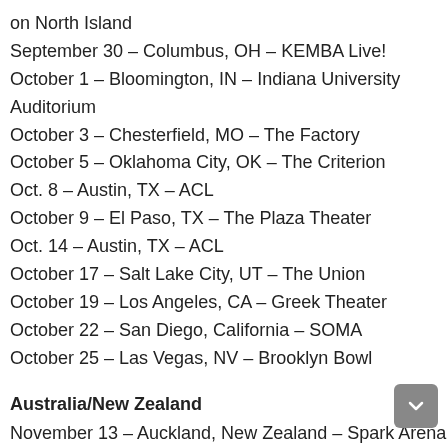on North Island
September 30 – Columbus, OH – KEMBA Live!
October 1 – Bloomington, IN – Indiana University Auditorium
October 3 – Chesterfield, MO – The Factory
October 5 – Oklahoma City, OK – The Criterion
Oct. 8 – Austin, TX – ACL
October 9 – El Paso, TX – The Plaza Theater
Oct. 14 – Austin, TX – ACL
October 17 – Salt Lake City, UT – The Union
October 19 – Los Angeles, CA – Greek Theater
October 22 – San Diego, California – SOMA
October 25 – Las Vegas, NV – Brooklyn Bowl
Australia/New Zealand
November 13 – Auckland, New Zealand – Spark Arena
November 15 – Brisbane, Queensland – Fortitude Music Hall